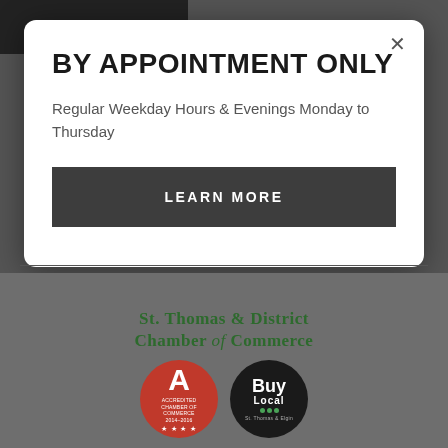BY APPOINTMENT ONLY
Regular Weekday Hours & Evenings Monday to Thursday
LEARN MORE
[Figure (logo): St. Thomas & District Chamber of Commerce logo with accredited chamber badge (red circle with letter A) and Buy Local badge (black circle)]